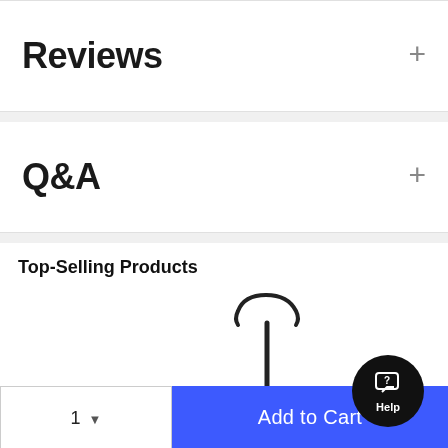Reviews
Q&A
Top-Selling Products
[Figure (photo): Guitar stand product photo — black metal folding guitar stand]
[Figure (photo): Studio condenser microphone product photo — silver/grey large-diaphragm microphone]
[Figure (illustration): Help button — circular black button with chat bubble and question mark icon, labeled 'Help']
1
Add to Cart